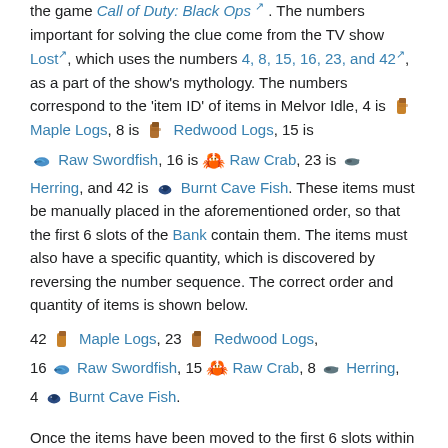the game Call of Duty: Black Ops ↗. The numbers important for solving the clue come from the TV show Lost↗, which uses the numbers 4, 8, 15, 16, 23, and 42↗, as a part of the show's mythology. The numbers correspond to the 'item ID' of items in Melvor Idle, 4 is 🪵 Maple Logs, 8 is 🪵 Redwood Logs, 15 is 🐟 Raw Swordfish, 16 is 🦀 Raw Crab, 23 is 🐟 Herring, and 42 is 🐟 Burnt Cave Fish. These items must be manually placed in the aforementioned order, so that the first 6 slots of the Bank contain them. The items must also have a specific quantity, which is discovered by reversing the number sequence. The correct order and quantity of items is shown below.
42 🪵 Maple Logs, 23 🪵 Redwood Logs, 16 🐟 Raw Swordfish, 15 🦀 Raw Crab, 8 🐟 Herring, 4 🐟 Burnt Cave Fish.
Once the items have been moved to the first 6 slots within the leftmost tab of the Bank in the correct order and quantity, the 🔱 Clue Chasers Insignia will be automatically awarded. If the amulet is not awarded